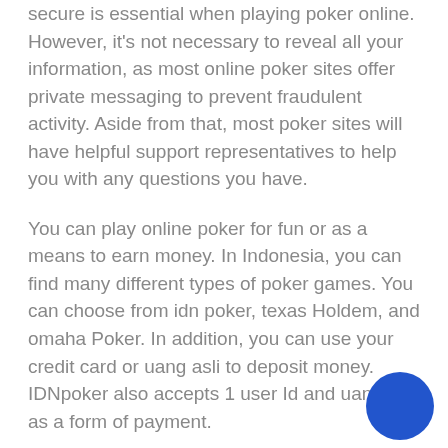secure is essential when playing poker online. However, it's not necessary to reveal all your information, as most online poker sites offer private messaging to prevent fraudulent activity. Aside from that, most poker sites will have helpful support representatives to help you with any questions you have.
You can play online poker for fun or as a means to earn money. In Indonesia, you can find many different types of poker games. You can choose from idn poker, texas Holdem, and omaha Poker. In addition, you can use your credit card or uang asli to deposit money. IDNpoker also accepts 1 user Id and uang asli as a form of payment.
The most popular form of poker is texas holdem, where you can either play against an opponent or against a computer. In each game, you must have